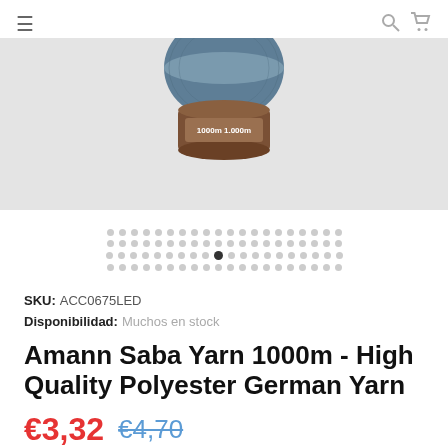[Figure (photo): A spool of Amann Saba thread/yarn in dusty blue/steel blue color, with a brown cardboard spool, label showing 1000m. E-commerce product photo on light gray background. Logo 'Leduc' visible at top.]
SKU: ACC0675LED
Disponibilidad: Muchos en stock
Amann Saba Yarn 1000m - High Quality Polyester German Yarn
€3,32  €4,70